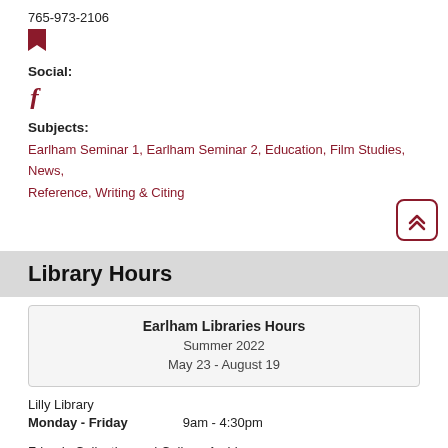765-973-2106
[Figure (illustration): Red bookmark icon]
Social:
[Figure (illustration): Facebook icon (dark red 'f')]
Subjects:
Earlham Seminar 1, Earlham Seminar 2, Education, Film Studies, News, Reference, Writing & Citing
[Figure (illustration): Back to top button with double chevron up arrow, dark red border]
Library Hours
| Earlham Libraries Hours |
| Summer 2022 |
| May 23 - August 19 |
Lilly Library
Monday - Friday   9am - 4:30pm
Friends Collection and College Archives